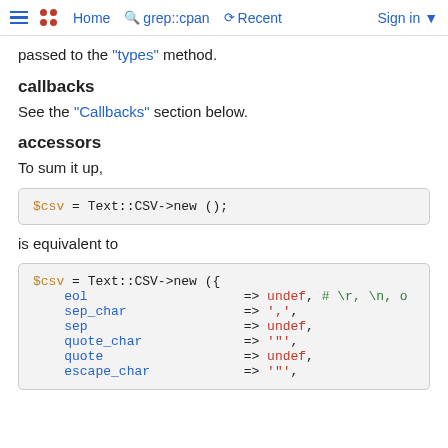Home  grep::cpan  Recent  Sign in
passed to the "types" method.
callbacks
See the "Callbacks" section below.
accessors
To sum it up,
$csv = Text::CSV->new ();
is equivalent to
$csv = Text::CSV->new ({
    eol                    => undef, # \r, \n, o
    sep_char               => ',',
    sep                    => undef,
    quote_char             => '"',
    quote                  => undef,
    escape_char            => '"',